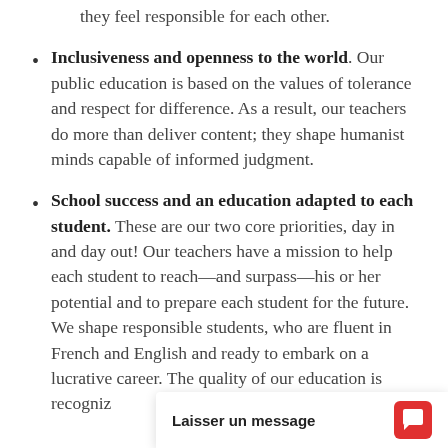they feel responsible for each other.
Inclusiveness and openness to the world. Our public education is based on the values of tolerance and respect for difference. As a result, our teachers do more than deliver content; they shape humanist minds capable of informed judgment.
School success and an education adapted to each student. These are our two core priorities, day in and day out! Our teachers have a mission to help each student to reach—and surpass—his or her potential and to prepare each student for the future. We shape responsible students, who are fluent in French and English and ready to embark on a lucrative career. The quality of our education is recognized by the most prestigious universities